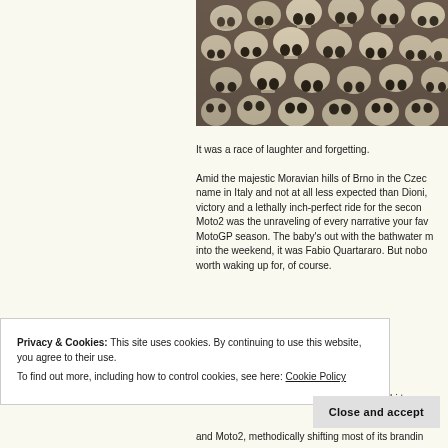[Figure (photo): A wall of human skulls arranged in rows, Brno ossuary or similar charnel house]
It was a race of laughter and forgetting.
Amid the majestic Moravian hills of Brno in the Czec name in Italy and not at all less expected than Dioni, victory and a lethally inch-perfect ride for the secon Moto2 was the unraveling of every narrative your fav MotoGP season. The baby's out with the bathwater m into the weekend, it was Fabio Quartararo. But nobo worth waking up for, of course.
Privacy & Cookies: This site uses cookies. By continuing to use this website, you agree to their use. To find out more, including how to control cookies, see here: Cookie Policy
Close and accept
and Moto2, methodically shifting most of its brandin